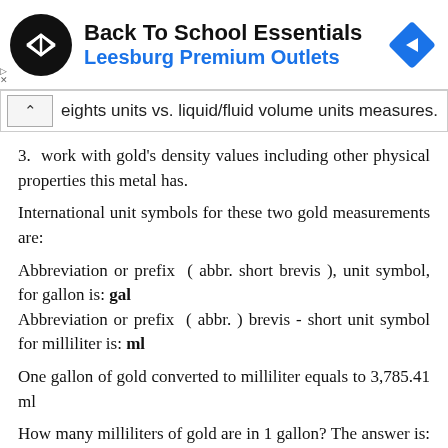[Figure (other): Advertisement banner for Back To School Essentials at Leesburg Premium Outlets with circular logo and diamond arrow icon]
eights units vs. liquid/fluid volume units measures.
3.  work with gold's density values including other physical properties this metal has.
International unit symbols for these two gold measurements are:
Abbreviation or prefix ( abbr. short brevis ), unit symbol, for gallon is: gal
Abbreviation or prefix ( abbr. ) brevis - short unit symbol for milliliter is: ml
One gallon of gold converted to milliliter equals to 3,785.41 ml
How many milliliters of gold are in 1 gallon? The answer is: The